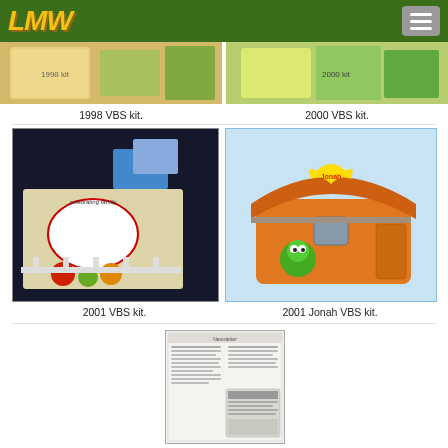LMW (logo) with navigation menu button
[Figure (photo): 1998 VBS kit photo]
[Figure (photo): 2000 VBS kit photo]
1998 VBS kit.
2000 VBS kit.
[Figure (photo): 2001 VBS kit photo with VeggieTales characters and game board]
[Figure (photo): 2001 Jonah VBS kit photo with orange treasure chest box]
2001 VBS kit.
2001 Jonah VBS kit.
[Figure (photo): Newspaper clipping or newsletter document]